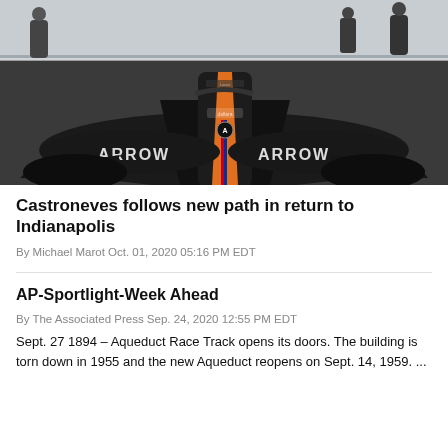[Figure (photo): Overhead/overhead-angle view of a black and orange Arrow McLaren IndyCar on pit lane at Indianapolis Motor Speedway, with crew members visible in background. Car has 'ARROW' lettering on side pods and Dallara branding on nose.]
Castroneves follows new path in return to Indianapolis
By Michael Marot Oct. 01, 2020 05:16 PM EDT
AP-Sportlight-Week Ahead
By The Associated Press Sep. 24, 2020 12:55 PM EDT
Sept. 27 1894 – Aqueduct Race Track opens its doors. The building is torn down in 1955 and the new Aqueduct reopens on Sept. 14, 1959. ...